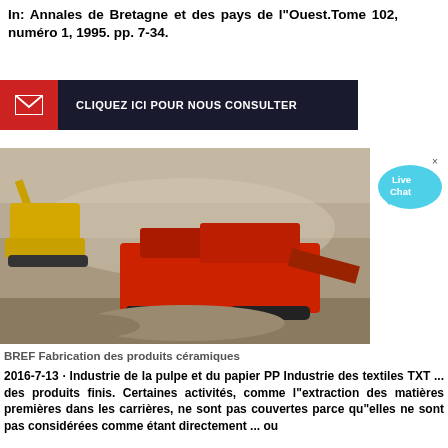In: Annales de Bretagne et des pays de l"Ouest.Tome 102, numéro 1, 1995. pp. 7-34.
[Figure (screenshot): Dark banner with red icon box containing envelope icon and text 'CLIQUEZ ICI POUR NOUS CONSULTER' in white on dark background]
[Figure (photo): Quarry scene with yellow excavator/crane on the left and large red mobile crushing/screening machinery in the center-right, set against a rocky quarry wall background with dust]
BREF Fabrication des produits céramiques
2016-7-13 · Industrie de la pulpe et du papier PP Industrie des textiles TXT ... des produits finis. Certaines activités, comme l"extraction des matières premières dans les carrières, ne sont pas couvertes parce qu"elles ne sont pas considérées comme étant directement ... ou